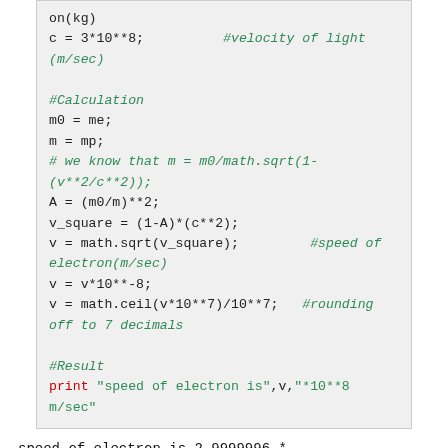[Figure (screenshot): Python code block showing relativistic electron speed calculation with syntax highlighting]
speed of electron is 2.9999996 * 10**8 m/sec
Example number 1.12, Page number 25